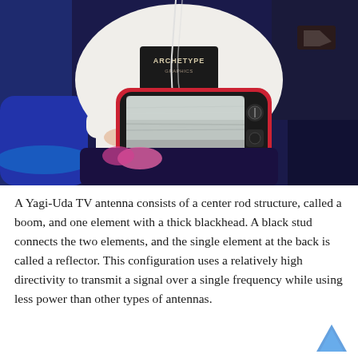[Figure (photo): A young woman with long brown hair wearing a white jacket sitting and holding a small vintage red portable television set showing white static noise on its screen, in a blue-lit environment.]
A Yagi-Uda TV antenna consists of a center rod structure, called a boom, and one element with a thick blackhead. A black stud connects the two elements, and the single element at the back is called a reflector. This configuration uses a relatively high directivity to transmit a signal over a single frequency while using less power than other types of antennas.